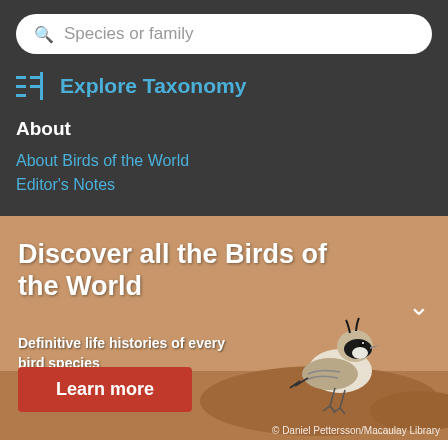Species or family
Explore Taxonomy
About
About Birds of the World
Editor's Notes
[Figure (photo): A horned lark bird standing on sandy/rocky ground, with tan background. Bird has black facial markings and small head tufts.]
Discover all the Birds of the World
Definitive life histories of every bird species
Learn more
© Daniel Pettersson/Macaulay Library